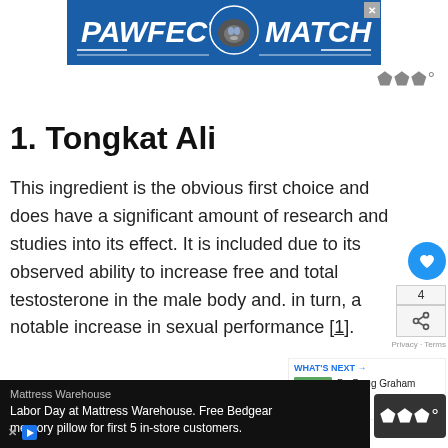[Figure (advertisement): PAWFECT MATCH advertisement banner with blue background, cat image, and white bold text]
1. Tongkat Ali
This ingredient is the obvious first choice and does have a significant amount of research and studies into its effect. It is included due to its observed ability to increase free and total testosterone in the male body and. in turn, a notable increase in sexual performance [1].
[Figure (advertisement): Mattress Warehouse Labor Day advertisement banner. Black background with white text: 'Mattress Warehouse Labor Day at Mattress Warehouse. Free Bedgear memory pillow for first 5 in-store customers.']